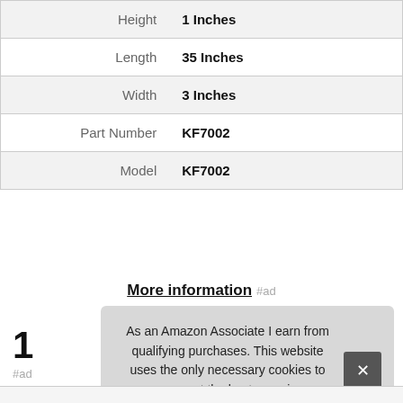| Attribute | Value |
| --- | --- |
| Height | 1 Inches |
| Length | 35 Inches |
| Width | 3 Inches |
| Part Number | KF7002 |
| Model | KF7002 |
More information #ad
10
#ad
As an Amazon Associate I earn from qualifying purchases. This website uses the only necessary cookies to ensure you get the best experience on our website. More information